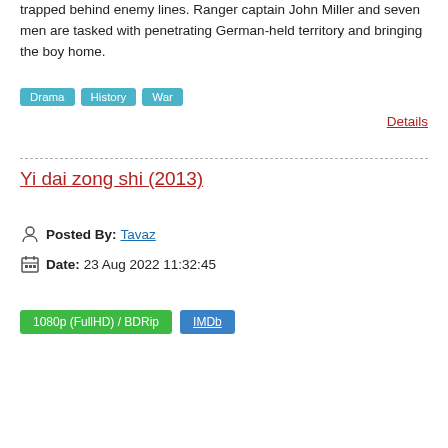trapped behind enemy lines. Ranger captain John Miller and seven men are tasked with penetrating German-held territory and bringing the boy home.
Drama
History
War
Details
Yi dai zong shi (2013)
Posted By: Tavaz
Date: 23 Aug 2022 11:32:45
1080p (FullHD) / BDRip
IMDb